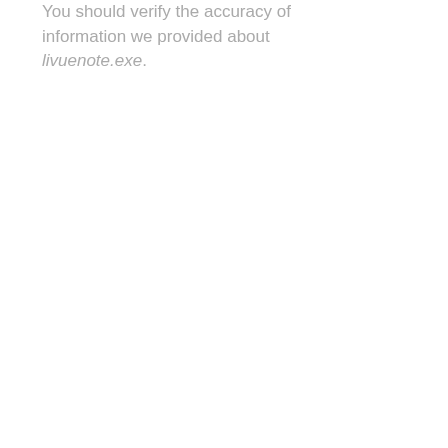You should verify the accuracy of information we provided about livuenote.exe.